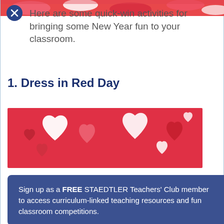[Figure (photo): Partial view of red and white heart-shaped candies at the top of the page, cropped by the page edge]
Here are some quick-win activities for bringing some New Year fun to your classroom.
1. Dress in Red Day
[Figure (photo): Close-up photograph of red and white heart-shaped candies/sweets filling the entire frame]
Sign up as a FREE STAEDTLER Teachers' Club member to access curriculum-linked teaching resources and fun classroom competitions.